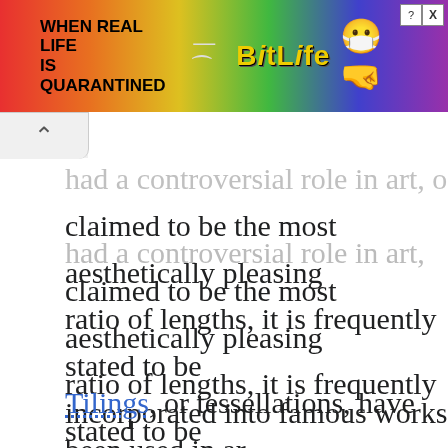[Figure (screenshot): BitLife mobile game advertisement banner with rainbow gradient background, text 'WHEN REAL LIFE IS QUARANTINED' and 'BitLife' logo with emoji characters]
had a controversial role in art, often claimed to be the most aesthetically pleasing ratio of lengths, it is frequently stated to be incorporated into famous works of art, though the most reliable and unambiguous examples were made deliberately by artists aware of the legend.[118]
Tilings, or tessellations, have been used in art throughout history. Islamic art makes freque…